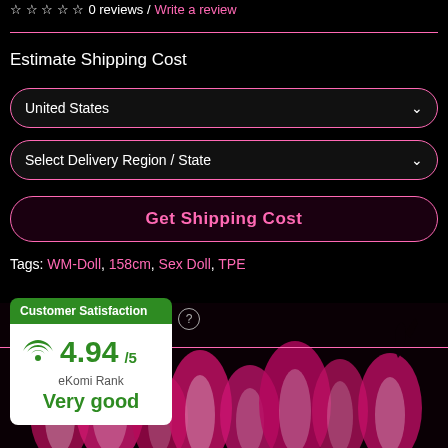☆ ☆ ☆ ☆ ☆ 0 reviews / Write a review
Estimate Shipping Cost
United States
Select Delivery Region / State
Get Shipping Cost
Tags: WM-Doll, 158cm, Sex Doll, TPE
[Figure (infographic): Customer Satisfaction widget showing eKomi rating of 4.94/5 with 'Very good' rank, green header and white body with wifi/star icon]
[Figure (photo): Dark background with pink and white flame graphics and silhouette of a figure]